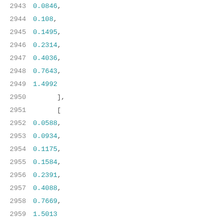Code listing lines 2943-2964 showing numeric array values and timing_sense key
2943    0.0846,
2944    0.108,
2945    0.1495,
2946    0.2314,
2947    0.4036,
2948    0.7643,
2949    1.4992
2950    ],
2951    [
2952    0.0588,
2953    0.0934,
2954    0.1175,
2955    0.1584,
2956    0.2391,
2957    0.4088,
2958    0.7669,
2959    1.5013
2960    ]
2961    ]
2962    },
2963    "timing_sense": "positive_unate"
2964    ]